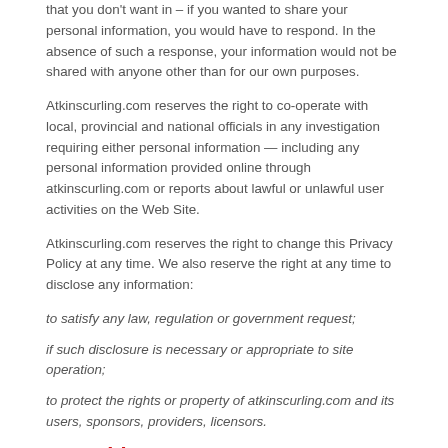that you don't want in – if you wanted to share your personal information, you would have to respond. In the absence of such a response, your information would not be shared with anyone other than for our own purposes.
Atkinscurling.com reserves the right to co-operate with local, provincial and national officials in any investigation requiring either personal information — including any personal information provided online through atkinscurling.com or reports about lawful or unlawful user activities on the Web Site.
Atkinscurling.com reserves the right to change this Privacy Policy at any time. We also reserve the right at any time to disclose any information:
to satisfy any law, regulation or government request;
if such disclosure is necessary or appropriate to site operation;
to protect the rights or property of atkinscurling.com and its users, sponsors, providers, licensors.
Securities & Guarantees
Atkins Curling Supplies (atkinscurling.com) uses technology that ensures that your personal and payment information is kept confidential and secure. Please refer to our Privacy Policy for further